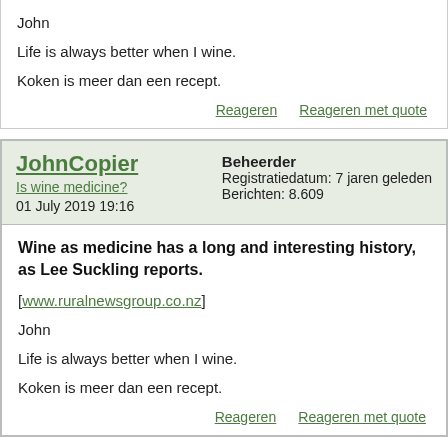John
Life is always better when I wine.
Koken is meer dan een recept.
Reageren    Reageren met quote
JohnCopier
Is wine medicine?
01 July 2019 19:16
Beheerder
Registratiedatum: 7 jaren geleden
Berichten: 8.609
Wine as medicine has a long and interesting history, as Lee Suckling reports.
[www.ruralnewsgroup.co.nz]
John
Life is always better when I wine.
Koken is meer dan een recept.
Reageren    Reageren met quote